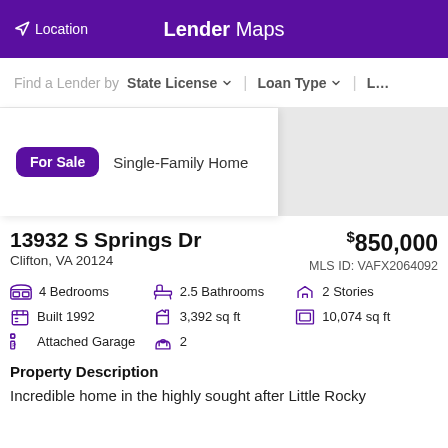Location | Lender Maps
Find a Lender by  State License  Loan Type  L…
For Sale  Single-Family Home
13932 S Springs Dr
$850,000
Clifton, VA 20124
MLS ID: VAFX2064092
4 Bedrooms
2.5 Bathrooms
2 Stories
Built 1992
3,392 sq ft
10,074 sq ft
Attached Garage
2
Property Description
Incredible home in the highly sought after Little Rocky